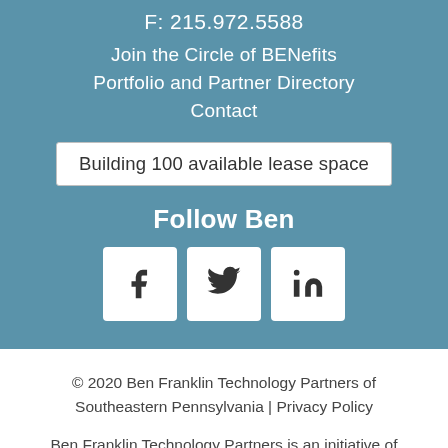F: 215.972.5588
Join the Circle of BENefits
Portfolio and Partner Directory
Contact
Building 100 available lease space
Follow Ben
[Figure (infographic): Social media icons for Facebook, Twitter, and LinkedIn in white rounded-rectangle boxes]
© 2020 Ben Franklin Technology Partners of Southeastern Pennsylvania | Privacy Policy
Ben Franklin Technology Partners is an initiative of